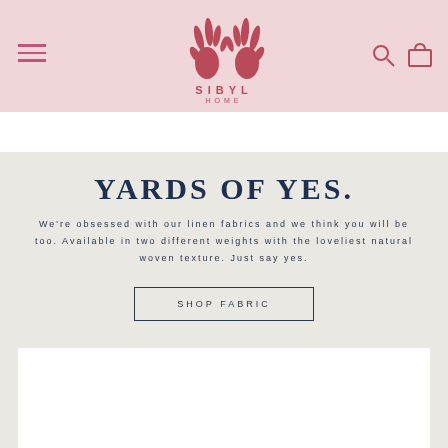[Figure (logo): Sibyl Home logo: two stylized red hands with text SIBYL HOME below, on pink background]
YARDS OF YES.
We're obsessed with our linen fabrics and we think you will be too. Available in two different weights with the loveliest natural woven texture. Just say yes.
SHOP FABRIC